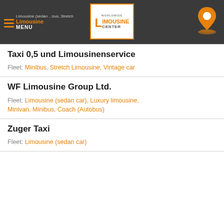Limousine (sedan ... bus, Stretch Limousine | WORLDWIDE LIMOUSINE CENTER | MENU
Taxi 0,5 und Limousinenservice
Fleet: Minibus, Stretch Limousine, Vintage car
WF Limousine Group Ltd.
Fleet: Limousine (sedan car), Luxury limousine, Minivan, Minibus, Coach (Autobus)
Zuger Taxi
Fleet: Limousine (sedan car)